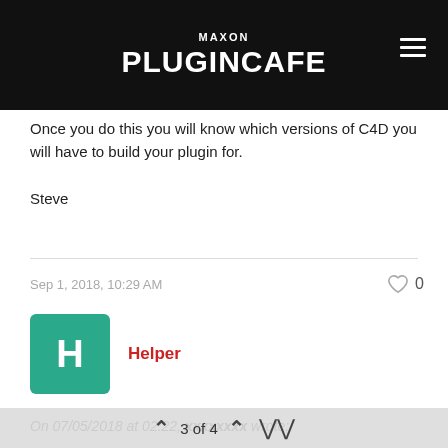MAXON PLUGINCAFE
Once you do this you will know which versions of C4D you will have to build your plugin for.
Steve
Sep 1, 2018, 10:29 AM
Helper
On 07/05/2018 at 02:22, xxxxxxxx wrote:
So It means every time for the new version I have to build the plugin to use the same sdk.
3 of 4